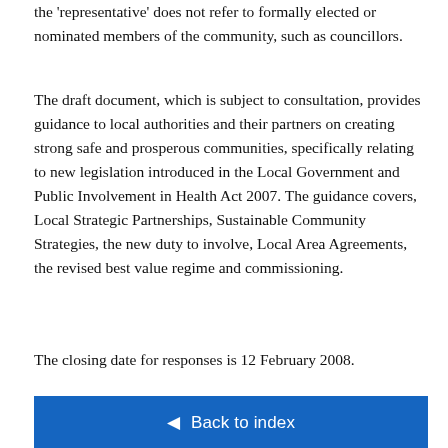the 'representative' does not refer to formally elected or nominated members of the community, such as councillors.
The draft document, which is subject to consultation, provides guidance to local authorities and their partners on creating strong safe and prosperous communities, specifically relating to new legislation introduced in the Local Government and Public Involvement in Health Act 2007. The guidance covers, Local Strategic Partnerships, Sustainable Community Strategies, the new duty to involve, Local Area Agreements, the revised best value regime and commissioning.
The closing date for responses is 12 February 2008.
◄ Back to index